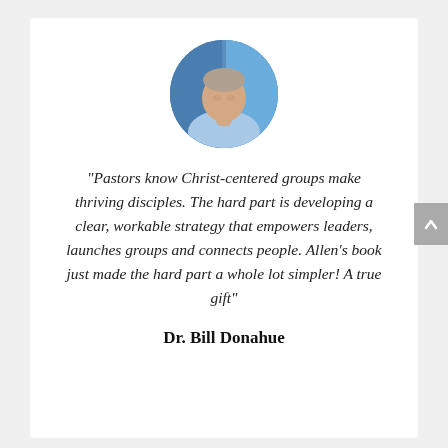[Figure (photo): Circular portrait photo of Dr. Bill Donahue, a middle-aged man in a light blue shirt, with a blue background]
“Pastors know Christ-centered groups make thriving disciples. The hard part is developing a clear, workable strategy that empowers leaders, launches groups and connects people. Allen’s book just made the hard part a whole lot simpler! A true gift”
Dr. Bill Donahue